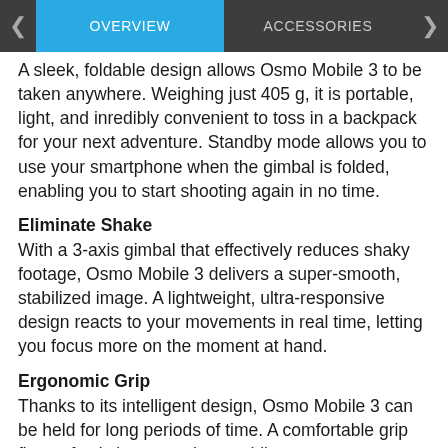OVERVIEW | ACCESSORIES
A sleek, foldable design allows Osmo Mobile 3 to be taken anywhere. Weighing just 405 g, it is portable, light, and inredibly convenient to toss in a backpack for your next adventure. Standby mode allows you to use your smartphone when the gimbal is folded, enabling you to start shooting again in no time.
Eliminate Shake
With a 3-axis gimbal that effectively reduces shaky footage, Osmo Mobile 3 delivers a super-smooth, stabilized image. A lightweight, ultra-responsive design reacts to your movements in real time, letting you focus more on the moment at hand.
Ergonomic Grip
Thanks to its intelligent design, Osmo Mobile 3 can be held for long periods of time. A comfortable grip fits perfectly in your palm, enabling you to create without limitations.
Grip Angle: 15°
Your Story, Your Moment
From the extraordinary to the everyday, share your unique